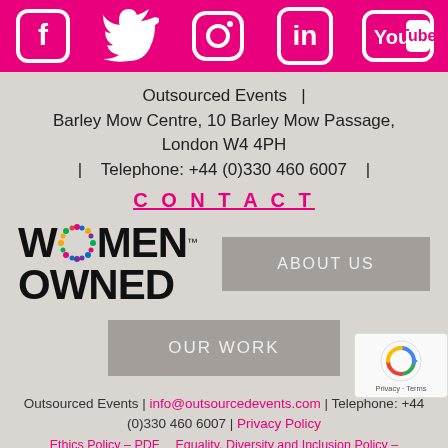[Figure (illustration): Pink banner with white social media icons: Facebook, Twitter, Instagram, LinkedIn, YouTube]
Outsourced Events   |
Barley Mow Centre, 10 Barley Mow Passage,
London W4 4PH
|   Telephone: +44 (0)330 460 6007   |
CONTACT
[Figure (logo): Women Owned logo with colourful dots replacing the O in WOMEN, trademark symbol]
[Figure (illustration): ABOUT US grey button]
[Figure (illustration): OUR WORK grey button]
Outsourced Events | info@outsourcedevents.com | Telephone: +44 (0)330 460 6007 | Privacy Policy
[Figure (illustration): reCAPTCHA badge with arrow icon and Privacy - Terms text]
Ethics Policy – PDF     Equality, Diversity and Inclusion Policy –